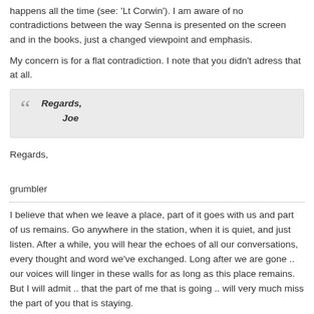happens all the time (see: 'Lt Corwin'). I am aware of no contradictions between the way Senna is presented on the screen and in the books, just a changed viewpoint and emphasis.
My concern is for a flat contradiction. I note that you didn't adress that at all.
Regards,

Joe
Regards,

grumbler
I believe that when we leave a place, part of it goes with us and part of us remains. Go anywhere in the station, when it is quiet, and just listen. After a while, you will hear the echoes of all our conversations, every thought and word we've exchanged. Long after we are gone .. our voices will linger in these walls for as long as this place remains. But I will admit .. that the part of me that is going .. will very much miss the part of you that is staying.
Spidy
Confirmed User